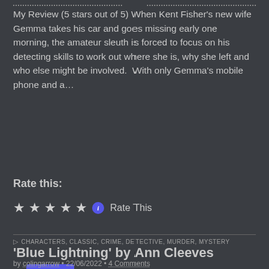My Review (5 stars out of 5) When Kent Fisher's new wife Gemma takes his car and goes missing early one morning, the amateur sleuth is forced to focus on his detecting skills to work out where she is, why she left and who else might be involved.  With only Gemma's mobile phone and a...
Read more →
Rate this:
★★★★★ ℹ Rate This
CHARACTERS, CLASSIC, CRIME, DETECTIVE, MURDER, MYSTERY
'Blue Lightning' by Ann Cleeves
by colingarrow • 22/06/2022 • 4 Comments
My Review (5 stars out of 5) Visiting his family on Fair Isle...